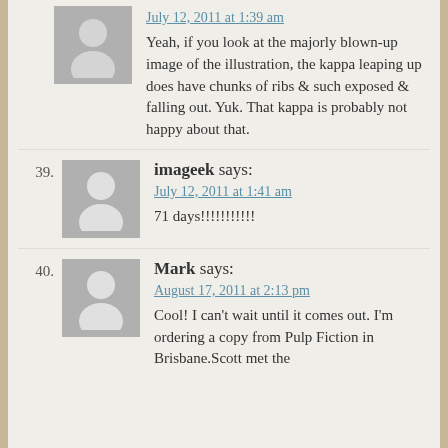July 12, 2011 at 1:39 am
Yeah, if you look at the majorly blown-up image of the illustration, the kappa leaping up does have chunks of ribs & such exposed & falling out. Yuk. That kappa is probably not happy about that.
39. imageek says:
July 12, 2011 at 1:41 am
71 days!!!!!!!!!!!
40. Mark says:
August 17, 2011 at 2:13 pm
Cool! I can't wait until it comes out. I'm ordering a copy from Pulp Fiction in Brisbane.Scott met the